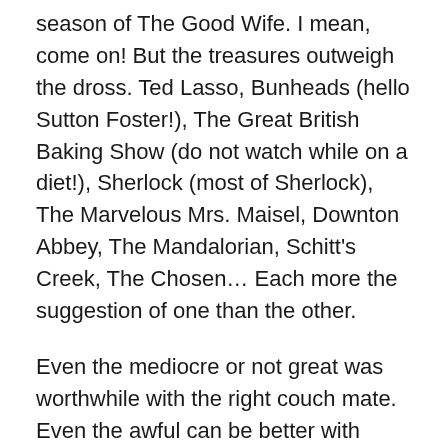season of The Good Wife. I mean, come on! But the treasures outweigh the dross. Ted Lasso, Bunheads (hello Sutton Foster!), The Great British Baking Show (do not watch while on a diet!), Sherlock (most of Sherlock), The Marvelous Mrs. Maisel, Downton Abbey, The Mandalorian, Schitt's Creek, The Chosen… Each more the suggestion of one than the other.
Even the mediocre or not great was worthwhile with the right couch mate. Even the awful can be better with someone that can reassure you that you aren't crazy, the critics and/or audiences are, and that massively talked about show is a massive waste of airwaves.
There are two traps that come with mutual watching that you have to be careful of. The first, anyone who has tried to stay up on a show with a partner knows all about: what